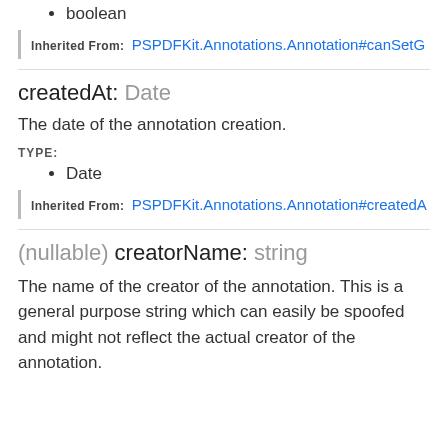boolean
Inherited From: PSPDFKit.Annotations.Annotation#canSetG
createdAt: Date
The date of the annotation creation.
TYPE:
Date
Inherited From: PSPDFKit.Annotations.Annotation#createdA
(nullable) creatorName: string
The name of the creator of the annotation. This is a general purpose string which can easily be spoofed and might not reflect the actual creator of the annotation.